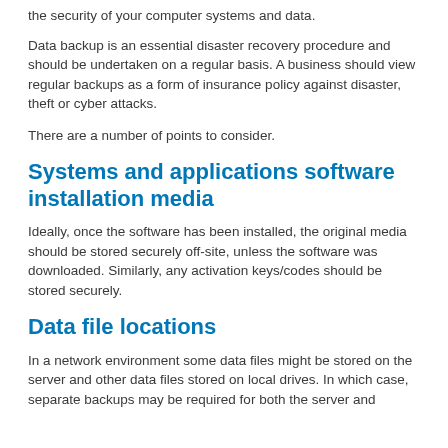the security of your computer systems and data.
Data backup is an essential disaster recovery procedure and should be undertaken on a regular basis. A business should view regular backups as a form of insurance policy against disaster, theft or cyber attacks.
There are a number of points to consider.
Systems and applications software installation media
Ideally, once the software has been installed, the original media should be stored securely off-site, unless the software was downloaded. Similarly, any activation keys/codes should be stored securely.
Data file locations
In a network environment some data files might be stored on the server and other data files stored on local drives. In which case, separate backups may be required for both the server and